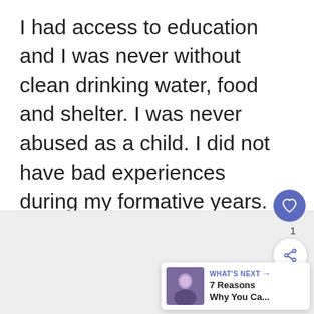I had access to education and I was never without clean drinking water, food and shelter. I was never abused as a child. I did not have bad experiences during my formative years. My childhood was very colourful indeed.
[Figure (screenshot): UI element: heart/like button (blue circle with heart icon), like count of 1, share button (white circle with share icon), and a 'What's Next' panel with thumbnail and text '7 Reasons Why You Ca...']